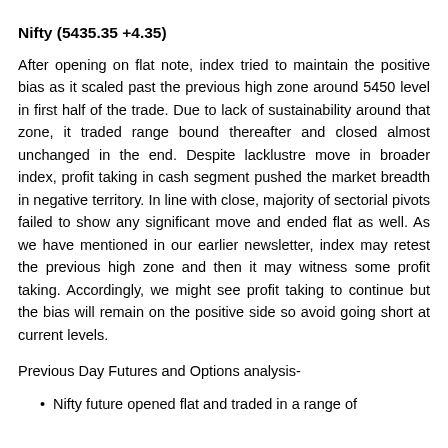Nifty (5435.35 +4.35)
After opening on flat note, index tried to maintain the positive bias as it scaled past the previous high zone around 5450 level in first half of the trade. Due to lack of sustainability around that zone, it traded range bound thereafter and closed almost unchanged in the end. Despite lacklustre move in broader index, profit taking in cash segment pushed the market breadth in negative territory. In line with close, majority of sectorial pivots failed to show any significant move and ended flat as well. As we have mentioned in our earlier newsletter, index may retest the previous high zone and then it may witness some profit taking. Accordingly, we might see profit taking to continue but the bias will remain on the positive side so avoid going short at current levels.
Previous Day Futures and Options analysis-
Nifty future opened flat and traded in a range of